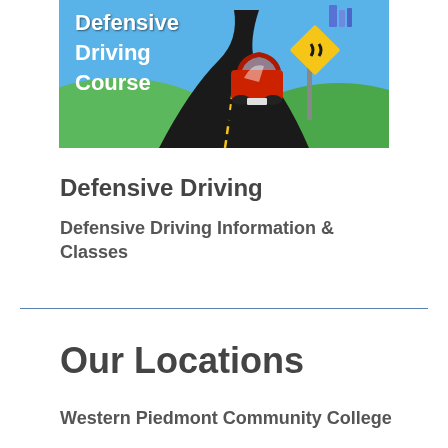[Figure (illustration): Illustrated cover of a Defensive Driving Course booklet showing a road with a car from behind, a yellow warning sign, green hills, and a blue sky. Text on image reads 'Defensive Driving Course'.]
Defensive Driving
Defensive Driving Information & Classes
Our Locations
Western Piedmont Community College